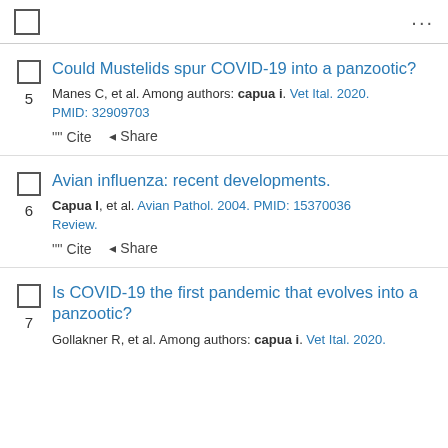...
5 Could Mustelids spur COVID-19 into a panzootic? Manes C, et al. Among authors: capua i. Vet Ital. 2020. PMID: 32909703
6 Avian influenza: recent developments. Capua I, et al. Avian Pathol. 2004. PMID: 15370036 Review.
7 Is COVID-19 the first pandemic that evolves into a panzootic? Gollakner R, et al. Among authors: capua i. Vet Ital. 2020.